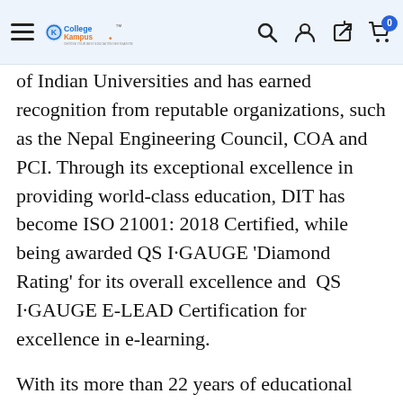CollegeKampus — CHOOSE YOUR BEST EDUCATION DESTINATION! [Search] [Account] [Share/Bookmark] [Cart: 0]
of Indian Universities and has earned recognition from reputable organizations, such as the Nepal Engineering Council, COA and PCI. Through its exceptional excellence in providing world-class education, DIT has become ISO 21001: 2018 Certified, while being awarded QS I·GAUGE 'Diamond Rating' for its overall excellence and  QS I·GAUGE E-LEAD Certification for excellence in e-learning.
With its more than 22 years of educational experience, DITU has also established the